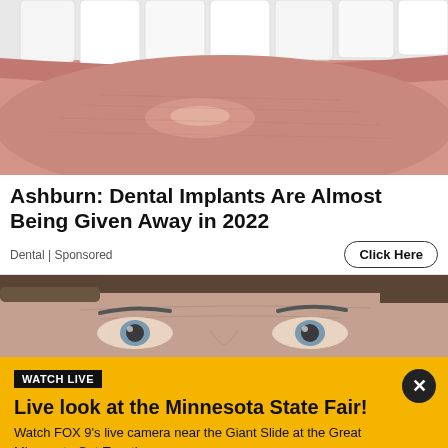[Figure (photo): Close-up macro photo of human lips and white teeth from below, dental advertisement image]
Ashburn: Dental Implants Are Almost Being Given Away in 2022
Dental | Sponsored
Click Here
[Figure (photo): Close-up photo of an elderly person's eyes and forehead]
WATCH LIVE
Live look at the Minnesota State Fair!
Watch FOX 9's live camera near the Giant Slide at the Great Minnesota Get-Together.